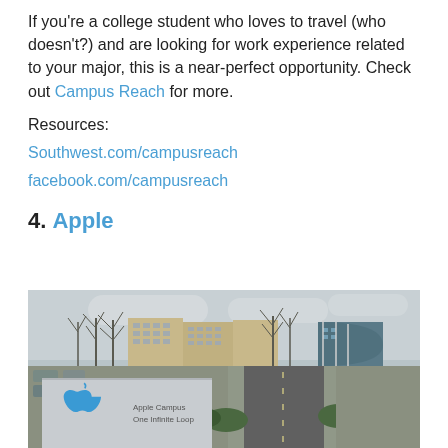If you're a college student who loves to travel (who doesn't?) and are looking for work experience related to your major, this is a near-perfect opportunity. Check out Campus Reach for more.
Resources:
Southwest.com/campusreach
facebook.com/campusreach
4. Apple
[Figure (photo): Photo of Apple Campus entrance sign with blue Apple logo and text 'Apple Campus One Infinite Loop', with office buildings and bare trees in the background, and a road leading into the campus.]